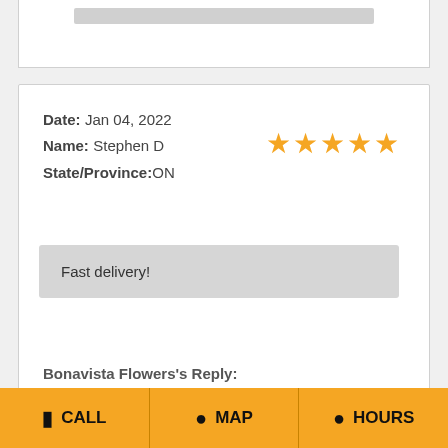[Partial card top - truncated content]
Date: Jan 04, 2022
Name: Stephen D
State/Province: ON
[Figure (other): 5 orange star rating icons]
Fast delivery!
Bonavista Flowers's Reply:
Date: Jan 04, 2022, 1:11 pm
Thank you for your kind words.
Date: Dec 30, 2021
CALL   MAP   HOURS